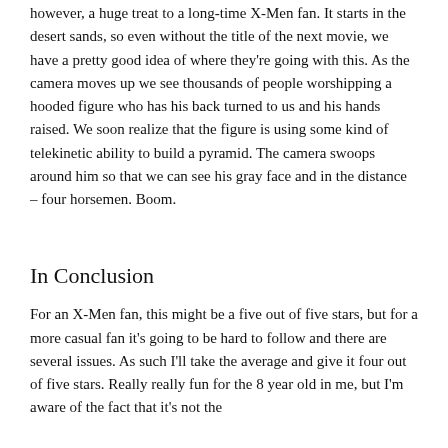however, a huge treat to a long-time X-Men fan. It starts in the desert sands, so even without the title of the next movie, we have a pretty good idea of where they're going with this. As the camera moves up we see thousands of people worshipping a hooded figure who has his back turned to us and his hands raised. We soon realize that the figure is using some kind of telekinetic ability to build a pyramid. The camera swoops around him so that we can see his gray face and in the distance – four horsemen. Boom.
In Conclusion
For an X-Men fan, this might be a five out of five stars, but for a more casual fan it's going to be hard to follow and there are several issues. As such I'll take the average and give it four out of five stars. Really really fun for the 8 year old in me, but I'm aware of the fact that it's not the